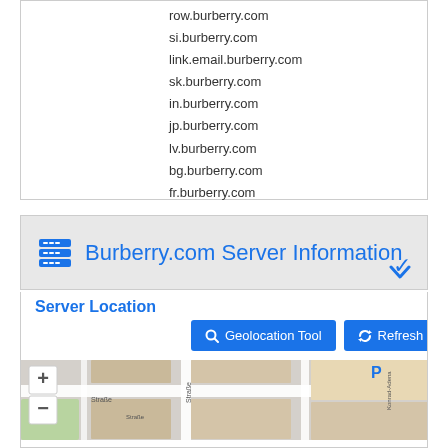row.burberry.com
si.burberry.com
link.email.burberry.com
sk.burberry.com
in.burberry.com
jp.burberry.com
lv.burberry.com
bg.burberry.com
fr.burberry.com
Burberry.com Server Information
Server Location
[Figure (map): Street map showing a European city location with zoom controls (+/-), street names including Straße, Konrad-Adenauer, and a parking (P) marker.]